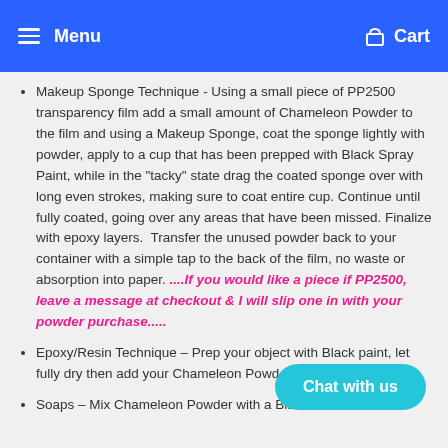Menu  Cart
Makeup Sponge Technique - Using a small piece of PP2500 transparency film add a small amount of Chameleon Powder to the film and using a Makeup Sponge, coat the sponge lightly with powder, apply to a cup that has been prepped with Black Spray Paint, while in the "tacky" state drag the coated sponge over with long even strokes, making sure to coat entire cup. Continue until fully coated, going over any areas that have been missed. Finalize with epoxy layers.  Transfer the unused powder back to your container with a simple tap to the back of the film, no waste or absorption into paper. ....If you would like a piece if PP2500, leave a message at checkout & I will slip one in with your powder purchase.....
Epoxy/Resin Technique – Prep your object with Black paint, let fully dry then add your Chameleon Powder and apply.
Soaps – Mix Chameleon Powder with a Black Mica Powder